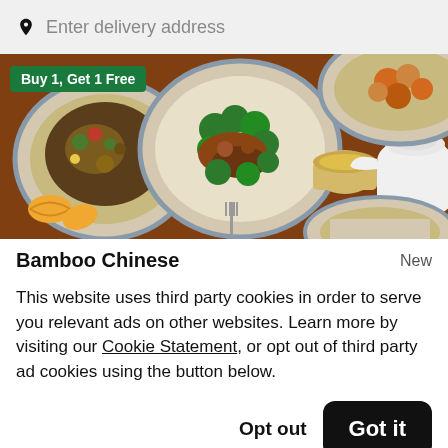Enter delivery address
[Figure (photo): Chinese food spread on a wooden table with plates of stir-fried broccoli dishes, fortune cookies, tea cup, and a white teapot. A green 'Buy 1, Get 1 Free' promotional badge overlays the top-left corner.]
Bamboo Chinese
New
This website uses third party cookies in order to serve you relevant ads on other websites. Learn more by visiting our Cookie Statement, or opt out of third party ad cookies using the button below.
Opt out
Got it